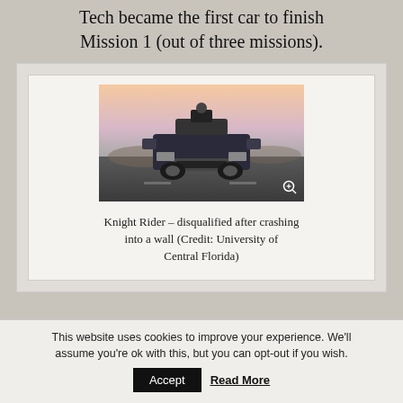Tech became the first car to finish Mission 1 (out of three missions).
[Figure (photo): Autonomous vehicle (Knight Rider) with sensor array on top, viewed from the front on a road, disqualified after crashing into a wall.]
Knight Rider – disqualified after crashing into a wall (Credit: University of Central Florida)
This website uses cookies to improve your experience. We'll assume you're ok with this, but you can opt-out if you wish.